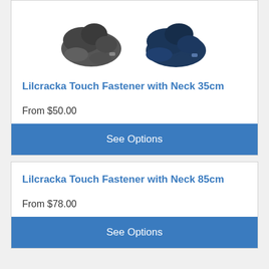[Figure (photo): Two dog coats/jackets shown side by side — one dark grey/black and one navy blue, partially cut off at top of card]
Lilcracka Touch Fastener with Neck 35cm
From $50.00
See Options
Lilcracka Touch Fastener with Neck 85cm
From $78.00
See Options